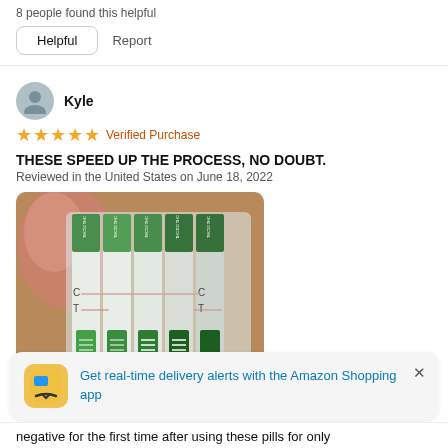8 people found this helpful
Helpful   Report
Kyle
★★★★★ Verified Purchase
THESE SPEED UP THE PROCESS, NO DOUBT.
Reviewed in the United States on June 18, 2022
[Figure (photo): Photo of multiple drug test strips held up showing C and T lines, with green pads at the bottom]
Get real-time delivery alerts with the Amazon Shopping app
negative for the first time after using these pills for only